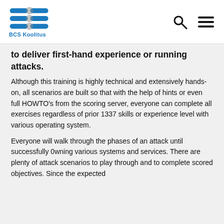BCS Koolitus
to deliver first-hand experience or running attacks.
Although this training is highly technical and extensively hands-on, all scenarios are built so that with the help of hints or even full HOWTO's from the scoring server, everyone can complete all exercises regardless of prior 1337 skills or experience level with various operating system.
Everyone will walk through the phases of an attack until successfully 0wning various systems and services. There are plenty of attack scenarios to play through and to complete scored objectives. Since the expected